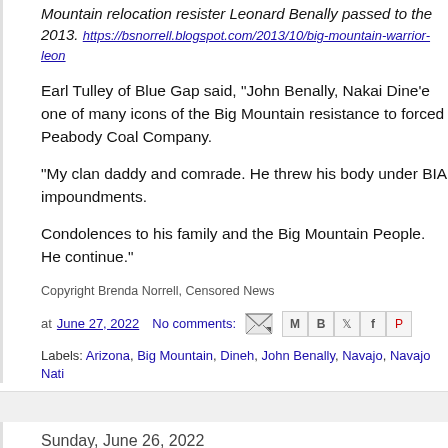Mountain relocation resister Leonard Benally passed to the 2013. https://bsnorrell.blogspot.com/2013/10/big-mountain-warrior-leon
Earl Tulley of Blue Gap said, "John Benally, Nakai Dine'e one of many icons of the Big Mountain resistance to forced Peabody Coal Company.
"My clan daddy and comrade. He threw his body under BIA impoundments.
Condolences to his family and the Big Mountain People. He continue."
Copyright Brenda Norrell, Censored News
at June 27, 2022   No comments:
Labels: Arizona, Big Mountain, Dineh, John Benally, Navajo, Navajo Nati
Sunday, June 26, 2022